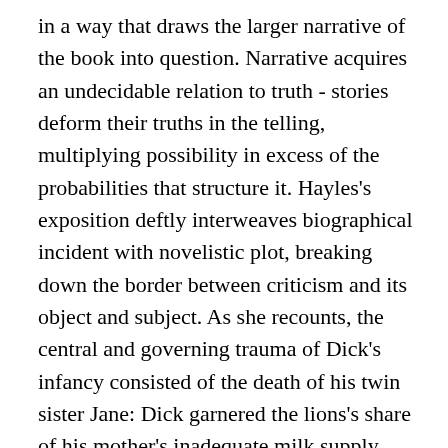in a way that draws the larger narrative of the book into question. Narrative acquires an undecidable relation to truth - stories deform their truths in the telling, multiplying possibility in excess of the probabilities that structure it. Hayles's exposition deftly interweaves biographical incident with novelistic plot, breaking down the border between criticism and its object and subject. As she recounts, the central and governing trauma of Dick's infancy consisted of the death of his twin sister Jane: Dick garnered the lions's share of his mother's inadequate milk supply, and his sister failed to thrive. Hayles sketches this incident without the detail required of formal biography, but with the effect of rendering